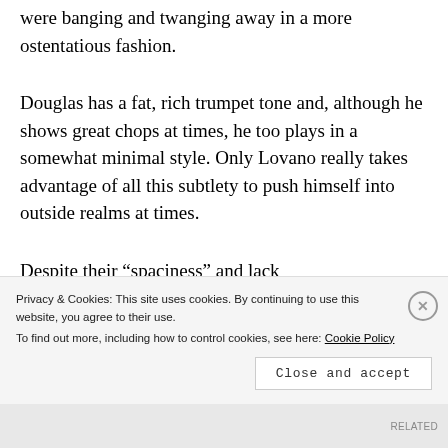were banging and twanging away in a more ostentatious fashion.
Douglas has a fat, rich trumpet tone and, although he shows great chops at times, he too plays in a somewhat minimal style. Only Lovano really takes advantage of all this subtlety to push himself into outside realms at times.
Despite their “spaciness” and lack
Privacy & Cookies: This site uses cookies. By continuing to use this website, you agree to their use.
To find out more, including how to control cookies, see here: Cookie Policy
Close and accept